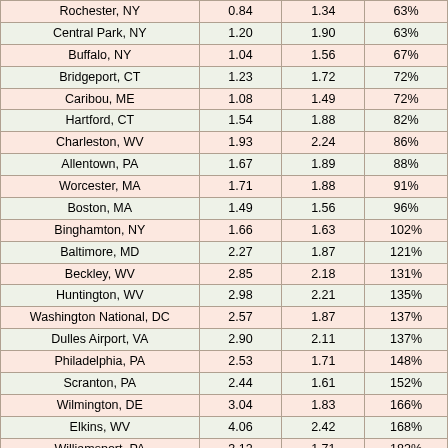| Location | Col1 | Col2 | Col3 |
| --- | --- | --- | --- |
| Rochester, NY | 0.84 | 1.34 | 63% |
| Central Park, NY | 1.20 | 1.90 | 63% |
| Buffalo, NY | 1.04 | 1.56 | 67% |
| Bridgeport, CT | 1.23 | 1.72 | 72% |
| Caribou, ME | 1.08 | 1.49 | 72% |
| Hartford, CT | 1.54 | 1.88 | 82% |
| Charleston, WV | 1.93 | 2.24 | 86% |
| Allentown, PA | 1.67 | 1.89 | 88% |
| Worcester, MA | 1.71 | 1.88 | 91% |
| Boston, MA | 1.49 | 1.56 | 96% |
| Binghamton, NY | 1.66 | 1.63 | 102% |
| Baltimore, MD | 2.27 | 1.87 | 121% |
| Beckley, WV | 2.85 | 2.18 | 131% |
| Huntington, WV | 2.98 | 2.21 | 135% |
| Washington National, DC | 2.57 | 1.87 | 137% |
| Dulles Airport, VA | 2.90 | 2.11 | 137% |
| Philadelphia, PA | 2.53 | 1.71 | 148% |
| Scranton, PA | 2.44 | 1.61 | 152% |
| Wilmington, DE | 3.04 | 1.83 | 166% |
| Elkins, WV | 4.06 | 2.42 | 168% |
| Williamsport, PA | 3.12 | 1.71 | 182% |
| Harrisburg, PA | 3.39 | 1.81 | 187% |
| Atlantic City, NJ | 2.93 | 1.53 | 192% |
| Erie, PA | 3.14 | 1.62 | 194% |